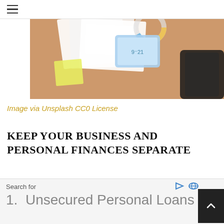[Figure (photo): Overhead view of a desk with financial charts, a tablet/phone, papers with graphs, sticky notes, and a dark bag in the corner. Warm wooden surface visible.]
Image via Unsplash CC0 License
KEEP YOUR BUSINESS AND PERSONAL FINANCES SEPARATE
It is critical to keep your freelancing finances separate from your personal finances. You will be able to...
Search for
1.  Unsecured Personal Loans